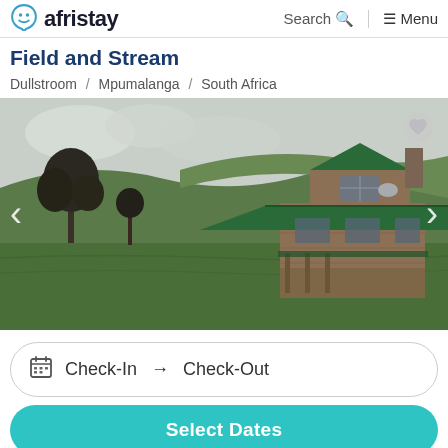afristay | Search | Menu
Field and Stream
Dullstroom / Mpumalanga / South Africa
[Figure (photo): Exterior photo of a stone farmhouse with a green roof set in a wide green field with rolling hills and trees in the background. Navigation arrows on left and right sides. Heart/favorite icon top right.]
Check-In → Check-Out
Select Dates